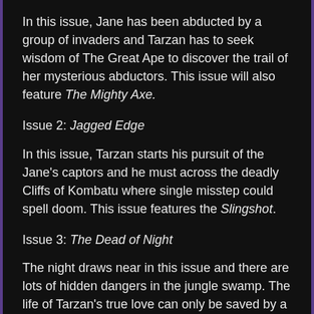In this issue, Jane has been abducted by a group of invaders and Tarzan has to seek wisdom of The Great Ape to discover the trail of her mysterious abductors. This issue will also feature The Mighty Axe.
Issue 2: Jagged Edge
In this issue, Tarzan starts his pursuit of the Jane's captors and he must across the deadly Cliffs of Kombatu where single misstep could spell doom. This issue features the Slingshot.
Issue 3: The Dead of Night
The night draws near in this issue and there are lots of hidden dangers in the jungle swamp. The life of Tarzan's true love can only be saved by a strange fruit which is